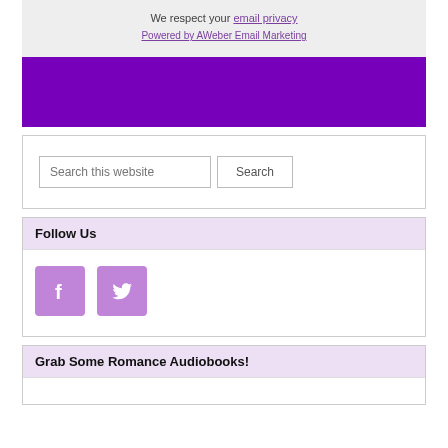We respect your email privacy
Powered by AWeber Email Marketing
[Figure (other): Solid purple/violet banner rectangle]
Search this website
Follow Us
[Figure (other): Facebook icon (purple square with f) and Twitter icon (purple square with bird)]
Grab Some Romance Audiobooks!